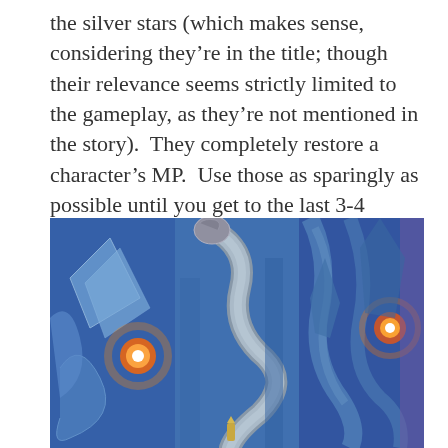the silver stars (which makes sense, considering they're in the title; though their relevance seems strictly limited to the gameplay, as they're not mentioned in the story).  They completely restore a character's MP.  Use those as sparingly as possible until you get to the last 3-4 bosses.  You will be begging for them at that point.
[Figure (illustration): A fantasy/gaming illustration depicting a serpentine dragon creature in a blue-toned environment with crystalline structures and swirling forms. The scene is dominated by shades of blue and grey, with glowing orange orbs visible in the left and right sections. A small armored figure appears at the bottom center.]